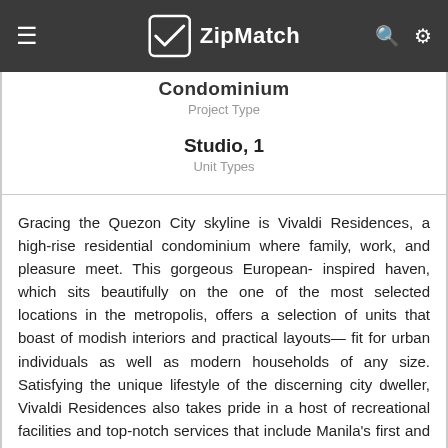ZipMatch
Condominium
Project Type
Studio, 1
Unit Types
Gracing the Quezon City skyline is Vivaldi Residences, a high-rise residential condominium where family, work, and pleasure meet. This gorgeous European- inspired haven, which sits beautifully on the one of the most selected locations in the metropolis, offers a selection of units that boast of modish interiors and practical layouts— fit for urban individuals as well as modern households of any size. Satisfying the unique lifestyle of the discerning city dweller, Vivaldi Residences also takes pride in a host of recreational facilities and top-notch services that include Manila's first and only cantilevered pool, a viewing deck, and Wi-Fi connectivity on all floors. Standing majestically along EDSA and Aurora Boulevard, Vivaldi Residences is just a stone's